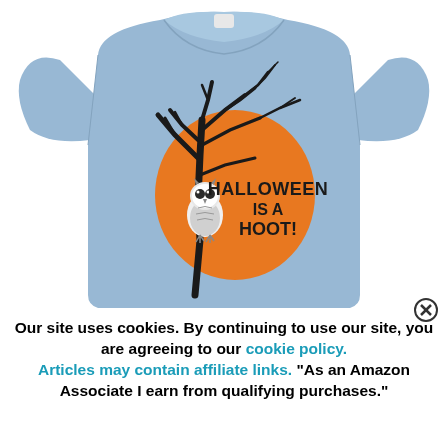[Figure (photo): A light blue t-shirt with a Halloween graphic design featuring a black bare tree, an orange full moon, an owl perched on a branch, and the text 'Halloween is a Hoot!' in black lettering.]
Our site uses cookies. By continuing to use our site, you are agreeing to our cookie policy. Articles may contain affiliate links. "As an Amazon Associate I earn from qualifying purchases."